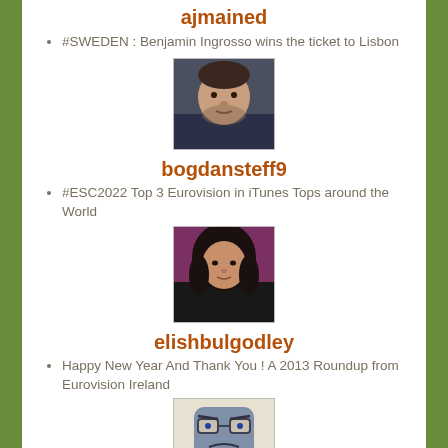ajmained
#SWEDEN : Benjamin Ingrosso wins the ticket to Lisbon
[Figure (photo): Profile photo of bogdansteff9 - man with dark hair]
bogdansteff9
#ESC2022 Top 3 Eurovision in iTunes Tops around the World
[Figure (photo): Profile photo of elishbulgodley - woman with dark hair]
elishbulgodley
Happy New Year And Thank You ! A 2013 Roundup from Eurovision Ireland
[Figure (illustration): Cartoon/avatar icon at bottom of page]